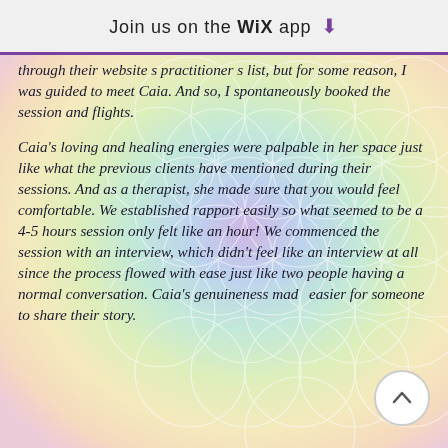Join us on the WiX app ⬇
through their website s practitioner s list, but for some reason, I was guided to meet Caia. And so, I spontaneously booked the session and flights.
Caia's loving and healing energies were palpable in her space just like what the previous clients have mentioned during their sessions. And as a therapist, she made sure that you would feel comfortable. We established rapport easily so what seemed to be a 4-5 hours session only felt like an hour! We commenced the session with an interview, which didn't feel like an interview at all since the process flowed with ease just like two people having a normal conversation. Caia's genuineness made easier for someone to share their story.